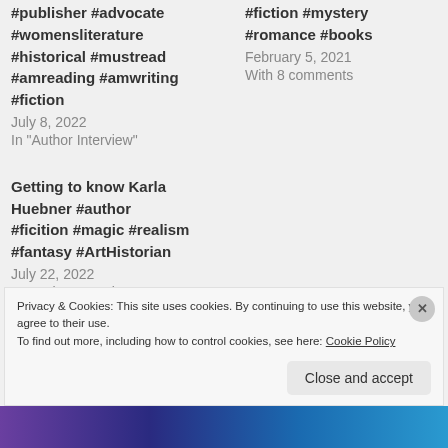#publisher #advocate #womensliterature #historical #mustread #amreading #amwriting #fiction
July 8, 2022
In "Author Interview"
#fiction #mystery #romance #books
February 5, 2021
With 8 comments
Getting to know Karla Huebner #author #ficition #magic #realism #fantasy #ArtHistorian
July 22, 2022
In "Author Interview"
Privacy & Cookies: This site uses cookies. By continuing to use this website, you agree to their use.
To find out more, including how to control cookies, see here: Cookie Policy
Close and accept